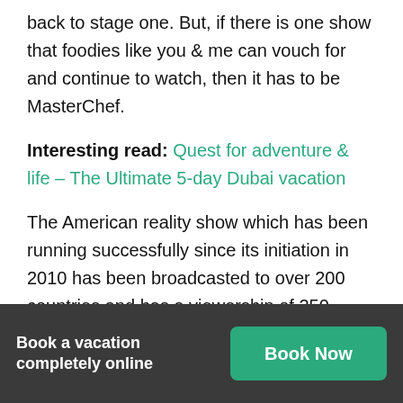back to stage one. But, if there is one show that foodies like you & me can vouch for and continue to watch, then it has to be MasterChef.
Interesting read: Quest for adventure & life – The Ultimate 5-day Dubai vacation
The American reality show which has been running successfully since its initiation in 2010 has been broadcasted to over 200 countries and has a viewership of 250 million. The truly phenomenal show deserves something equally amazing. And, guess what. Our prayers are answered. 'MasterChef,
Book a vacation completely online
Book Now